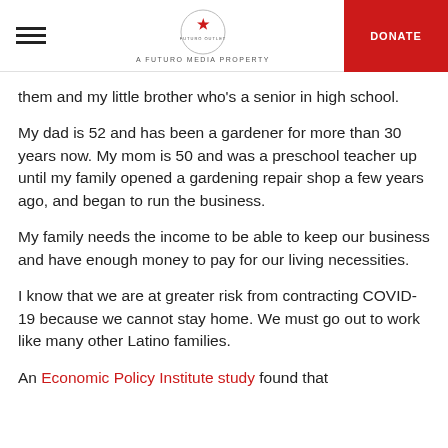DONATE | A FUTURO MEDIA PROPERTY
them and my little brother who's a senior in high school.
My dad is 52 and has been a gardener for more than 30 years now. My mom is 50 and was a preschool teacher up until my family opened a gardening repair shop a few years ago, and began to run the business.
My family needs the income to be able to keep our business and have enough money to pay for our living necessities.
I know that we are at greater risk from contracting COVID-19 because we cannot stay home. We must go out to work like many other Latino families.
An Economic Policy Institute study found that